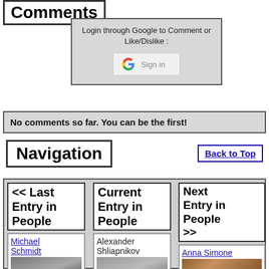Comments
Login through Google to Comment or Like/Dislike :
[Figure (screenshot): Google Sign in button with Google G logo]
No comments so far. You can be the first!
Navigation
Back to Top
<< Last Entry in People
Michael Schmidt
[Figure (photo): Black and white photo of Michael Schmidt wearing a hat]
Current Entry in People
Alexander Shliapnikov
[Figure (photo): Black and white portrait photo of Alexander Shliapnikov]
Next Entry in People >>
Anna Simone
[Figure (photo): Color photo of Anna Simone]